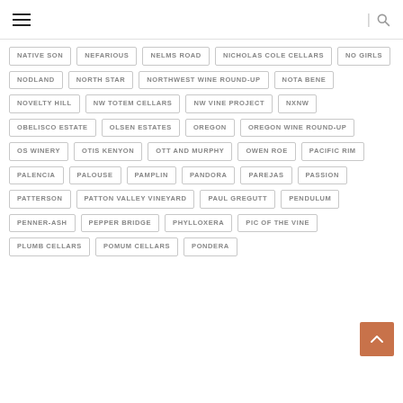Navigation header with hamburger menu and search icon
NATIVE SUN
NEFARIOUS
NELMS ROAD
NICHOLAS COLE CELLARS
NO GIRLS
NODLAND
NORTH STAR
NORTHWEST WINE ROUND-UP
NOTA BENE
NOVELTY HILL
NW TOTEM CELLARS
NW VINE PROJECT
NXNW
OBELISCO ESTATE
OLSEN ESTATES
OREGON
OREGON WINE ROUND-UP
OS WINERY
OTIS KENYON
OTT AND MURPHY
OWEN ROE
PACIFIC RIM
PALENCIA
PALOUSE
PAMPLIN
PANDORA
PAREJAS
PASSION
PATTERSON
PATTON VALLEY VINEYARD
PAUL GREGUTT
PENDULUM
PENNER-ASH
PEPPER BRIDGE
PHYLLOXERA
PIC OF THE VINE
PLUMB CELLARS
POMUM CELLARS
PONDERA